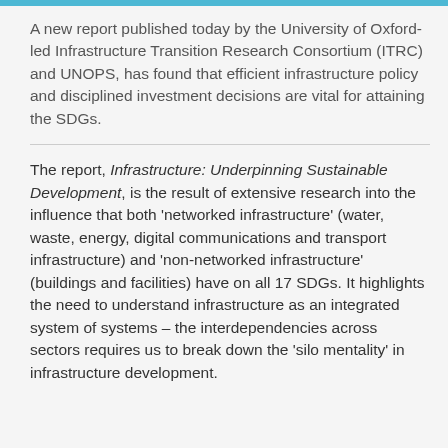A new report published today by the University of Oxford-led Infrastructure Transition Research Consortium (ITRC) and UNOPS, has found that efficient infrastructure policy and disciplined investment decisions are vital for attaining the SDGs.
The report, Infrastructure: Underpinning Sustainable Development, is the result of extensive research into the influence that both 'networked infrastructure' (water, waste, energy, digital communications and transport infrastructure) and 'non-networked infrastructure' (buildings and facilities) have on all 17 SDGs. It highlights the need to understand infrastructure as an integrated system of systems – the interdependencies across sectors requires us to break down the 'silo mentality' in infrastructure development.